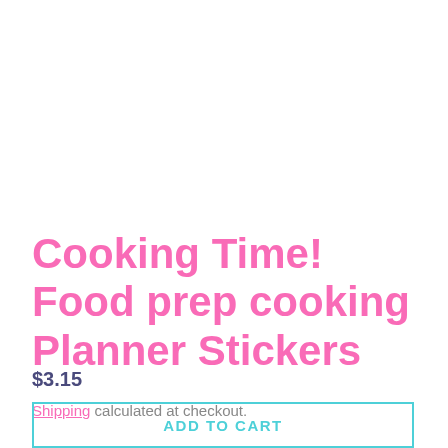Cooking Time! Food prep cooking Planner Stickers
$3.15
Shipping calculated at checkout.
ADD TO CART